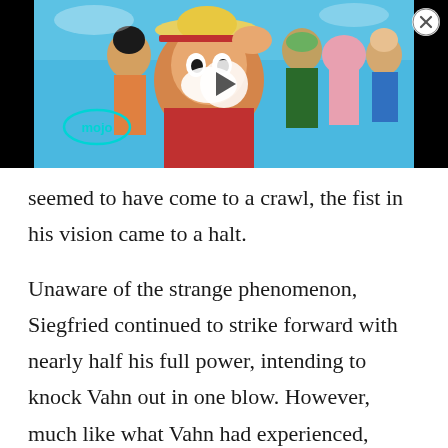[Figure (screenshot): Video thumbnail showing One Piece anime characters including Luffy in a straw hat and red vest, with other crew members behind him. A WatchMojo (mojo) logo is visible in the lower left of the thumbnail. A play button is overlaid in the center. A close (X) button is in the top right corner. The video player has a black background on the sides.]
seemed to have come to a crawl, the fist in his vision came to a halt.
Unaware of the strange phenomenon, Siegfried continued to strike forward with nearly half his full power, intending to knock Vahn out in one blow. However, much like what Vahn had experienced, Siegfried's hand passed through a semi-solid phantom that had been left behind by Vahn's use of [Shundo]. When pushed to the